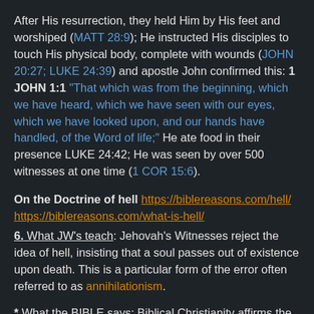After His resurrection, they held Him by His feet and worshiped (MATT 28:9); He instructed His disciples to touch His physical body, complete with wounds (JOHN 20:27; LUKE 24:39) and apostle John confirmed this: 1 JOHN 1:1 "That which was from the beginning, which we have heard, which we have seen with our eyes, which we have looked upon, and our hands have handled, of the Word of life;" He ate food in their presence LUKE 24:42; He was seen by over 500 witnesses at one time (1 COR 15:6).
On the Doctrine of hell https://biblereasons.com/hell/ https://biblereasons.com/what-is-hell/
6. What JW's teach: Jehovah's Witnesses reject the idea of hell, insisting that a soul passes out of existence upon death. This is a particular form of the error often referred to as annihilationism.
* What the BIBLE says: Biblical Christianity affirms the existence of hell, as a place of eternal punishment for all sinners who die outside of God's grace in Christ. It is the just punishment for sin: MATT 5:22-30; 11:23; 23:33; LUKE 12:4-